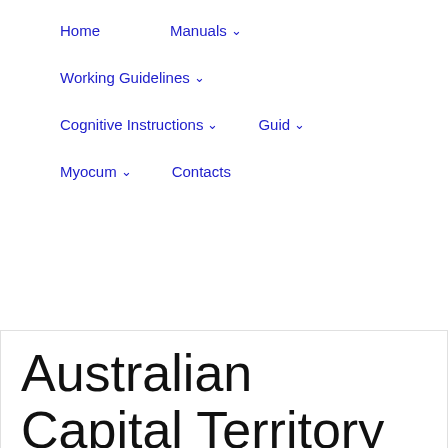Home   Manuals ▾   Working Guidelines ▾   Cognitive Instructions ▾   Guid ▾   Myocum ▾   Contacts
Australian Capital Territory